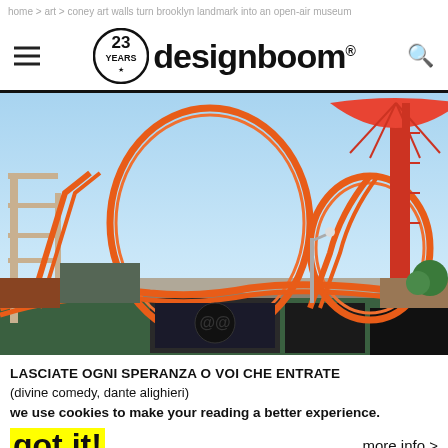home > art > coney art walls turn brooklyn landmark into an open-air museum
[Figure (logo): designboom logo with 23 YEARS badge, hamburger menu icon on left, search icon on right]
[Figure (photo): Coney Island amusement park with orange roller coaster loops, parachute tower, blue sky, graffiti walls in foreground]
LASCIATE OGNI SPERANZA O VOI CHE ENTRATE
(divine comedy, dante alighieri)
we use cookies to make your reading a better experience.
got it!
more info >